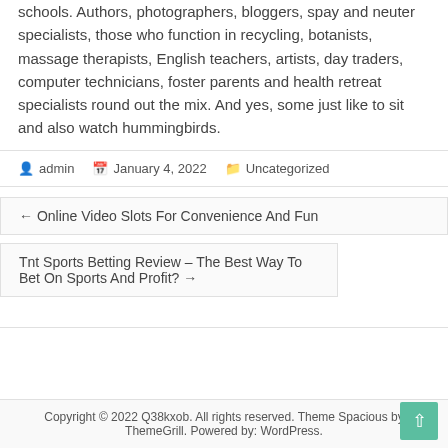schools. Authors, photographers, bloggers, spay and neuter specialists, those who function in recycling, botanists, massage therapists, English teachers, artists, day traders, computer technicians, foster parents and health retreat specialists round out the mix. And yes, some just like to sit and also watch hummingbirds.
admin   January 4, 2022   Uncategorized
← Online Video Slots For Convenience And Fun
Tnt Sports Betting Review – The Best Way To Bet On Sports And Profit? →
Copyright © 2022 Q38kxob. All rights reserved. Theme Spacious by ThemeGrill. Powered by: WordPress.